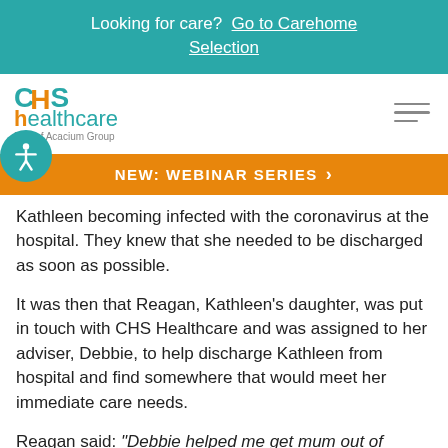Looking for care?  Go to Carehome Selection
[Figure (logo): CHS Healthcare logo - Part of Acacium Group]
NEW: WEBINAR SERIES
Kathleen becoming infected with the coronavirus at the hospital. They knew that she needed to be discharged as soon as possible.
It was then that Reagan, Kathleen's daughter, was put in touch with CHS Healthcare and was assigned to her adviser, Debbie, to help discharge Kathleen from hospital and find somewhere that would meet her immediate care needs.
Reagan said: “Debbie helped me get mum out of